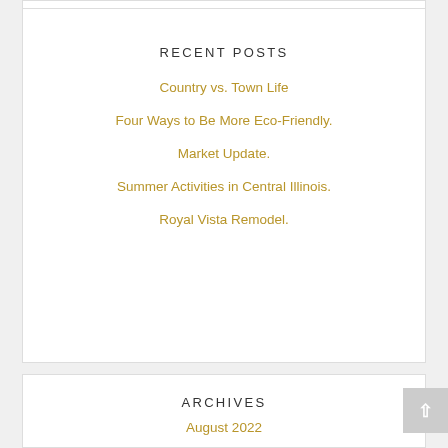RECENT POSTS
Country vs. Town Life
Four Ways to Be More Eco-Friendly.
Market Update.
Summer Activities in Central Illinois.
Royal Vista Remodel.
ARCHIVES
August 2022